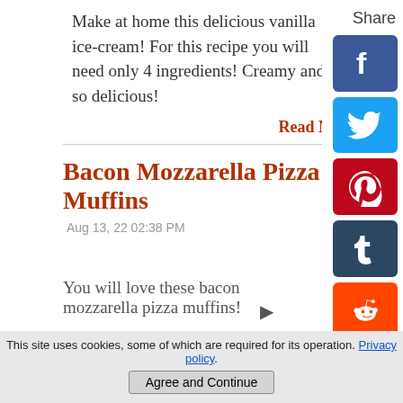Make at home this delicious vanilla ice-cream! For this recipe you will need only 4 ingredients! Creamy and so delicious!
Read Mo
Share
Bacon Mozzarella Pizza Muffins
Aug 13, 22 02:38 PM
You will love these bacon mozzarella pizza muffins!
This site uses cookies, some of which are required for its operation. Privacy policy
Agree and Continue